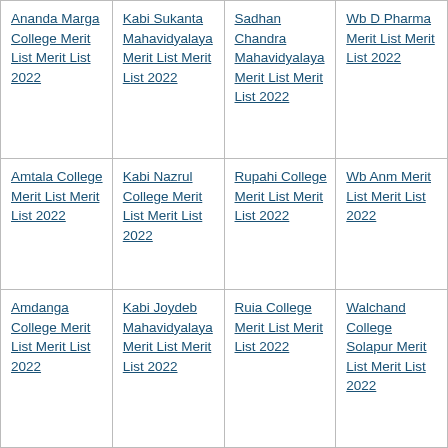| Ananda Marga College Merit List Merit List 2022 | Kabi Sukanta Mahavidyalaya Merit List Merit List 2022 | Sadhan Chandra Mahavidyalaya Merit List Merit List 2022 | Wb D Pharma Merit List Merit List 2022 |
| Amtala College Merit List Merit List 2022 | Kabi Nazrul College Merit List Merit List 2022 | Rupahi College Merit List Merit List 2022 | Wb Anm Merit List Merit List 2022 |
| Amdanga College Merit List Merit List 2022 | Kabi Joydeb Mahavidyalaya Merit List Merit List 2022 | Ruia College Merit List Merit List 2022 | Walchand College Solapur Merit List Merit List 2022 |